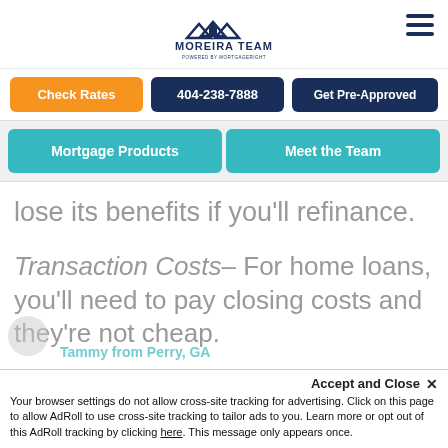MOREIRA TEAM - POWERED BY MORTGAGERIGHT
Check Rates
404-238-7888
Get Pre-Approved
Mortgage Products
Meet the Team
lose its benefits if you'll refinance.
Transaction Costs– For home loans, you'll need to pay closing costs and they're not cheap.
Tammy from Perry, GA
Accept and Close ✕
Your browser settings do not allow cross-site tracking for advertising. Click on this page to allow AdRoll to use cross-site tracking to tailor ads to you. Learn more or opt out of this AdRoll tracking by clicking here. This message only appears once.